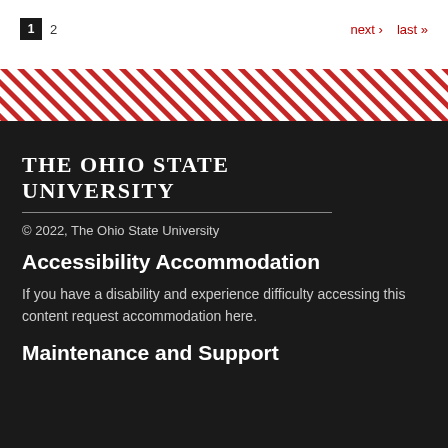1  2  next › last »
The Ohio State University
© 2022, The Ohio State University
Accessibility Accommodation
If you have a disability and experience difficulty accessing this content request accommodation here.
Maintenance and Support